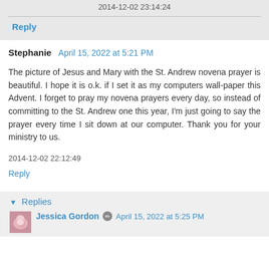2014-12-02 23:14:24
Reply
Stephanie  April 15, 2022 at 5:21 PM
The picture of Jesus and Mary with the St. Andrew novena prayer is beautiful. I hope it is o.k. if I set it as my computers wall-paper this Advent. I forget to pray my novena prayers every day, so instead of committing to the St. Andrew one this year, I'm just going to say the prayer every time I sit down at our computer. Thank you for your ministry to us.
2014-12-02 22:12:49
Reply
▼ Replies
Jessica Gordon  April 15, 2022 at 5:25 PM